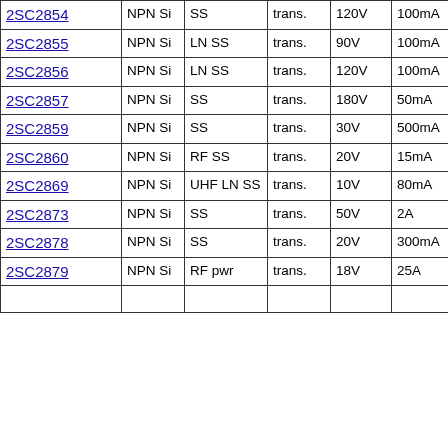| Part | Type | Class | Use | Voltage | Current | Power |
| --- | --- | --- | --- | --- | --- | --- |
| 2SC2854 | NPN Si | SS | trans. | 120V | 100mA | 400m... |
| 2SC2855 | NPN Si | LN SS | trans. | 90V | 100mA | 400m... |
| 2SC2856 | NPN Si | LN SS | trans. | 120V | 100mA | 400m... |
| 2SC2857 | NPN Si | SS | trans. | 180V | 50mA | 500m... |
| 2SC2859 | NPN Si | SS | trans. | 30V | 500mA | 150m... |
| 2SC2860 | NPN Si | RF SS | trans. | 20V | 15mA | 200m... |
| 2SC2869 | NPN Si | UHF LN SS | trans. | 10V | 80mA | 400m... |
| 2SC2873 | NPN Si | SS | trans. | 50V | 2A | 1W |
| 2SC2878 | NPN Si | SS | trans. | 20V | 300mA | 400m... |
| 2SC2879 | NPN Si | RF pwr | trans. | 18V | 25A | 250W |